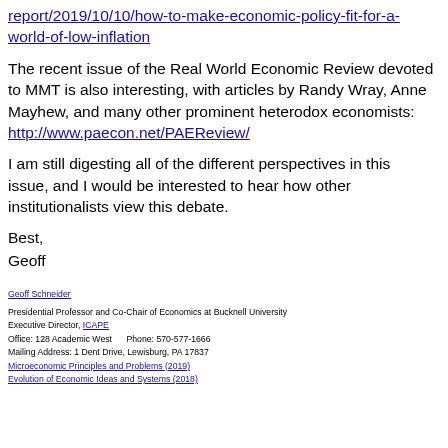report/2019/10/10/how-to-make-economic-policy-fit-for-a-world-of-low-inflation
The recent issue of the Real World Economic Review devoted to MMT is also interesting, with articles by Randy Wray, Anne Mayhew, and many other prominent heterodox economists: http://www.paecon.net/PAEReview/
I am still digesting all of the different perspectives in this issue, and I would be interested to hear how other institutionalists view this debate.
Best,
Geoff
Geoff Schneider
Presidential Professor and Co-Chair of Economics at Bucknell University
Executive Director, ICAPE
Office: 128 Academic West    Phone: 570-577-1666
Mailing Address: 1 Dent Drive, Lewisburg, PA 17837
Microeconomic Principles and Problems (2019)
Evolution of Economic Ideas and Systems (2018)